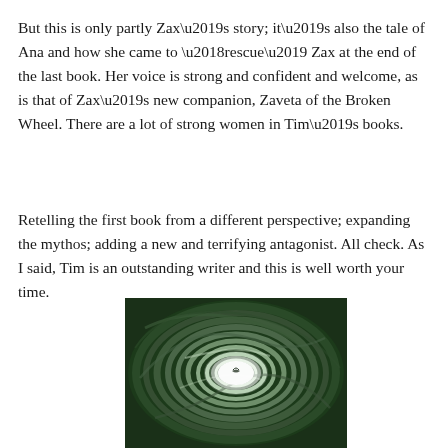But this is only partly Zax’s story; it’s also the tale of Ana and how she came to ‘rescue’ Zax at the end of the last book. Her voice is strong and confident and welcome, as is that of Zax’s new companion, Zaveta of the Broken Wheel. There are a lot of strong women in Tim’s books.
Retelling the first book from a different perspective; expanding the mythos; adding a new and terrifying antagonist. All check. As I said, Tim is an outstanding writer and this is well worth your time.
[Figure (photo): A swirling vortex or tunnel image in dark green tones, with a bright white center. The image resembles a whirlpool or spiral viewed from above, with a small dark bird or shape visible near the center.]